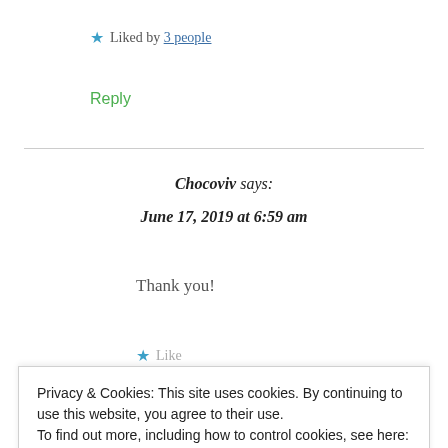★ Liked by 3 people
Reply
Chocoviv says: June 17, 2019 at 6:59 am
Thank you!
★ Like
Privacy & Cookies: This site uses cookies. By continuing to use this website, you agree to their use.
To find out more, including how to control cookies, see here: Cookie Policy
Close and accept
June 17, 2019 at 7:01 am